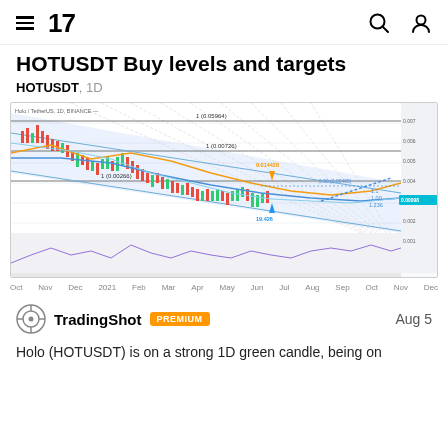TradingView navigation header with hamburger menu, TV logo, search icon and user icon
HOTUSDT Buy levels and targets
HOTUSDT, 1D
[Figure (continuous-plot): HOTUSDT 1D candlestick chart from TradingView (Holo / TetherUS, 1D, BINANCE) showing a descending channel with blue moving average lines, yellow moving average, Fibonacci retracement levels, orange downward arrow at 0.014428 and blue upward arrow at 19.426, price targets labeled on the right side including 1.1, 1.00, 1.236, 1.786, 2.618, -0.5, -1.51. Time axis spans from Oct through Sep. Lower panel shows volume/indicator oscillations.]
TradingShot  PREMIUM  Aug 5
Holo (HOTUSDT) is on a strong 1D green candle, being on